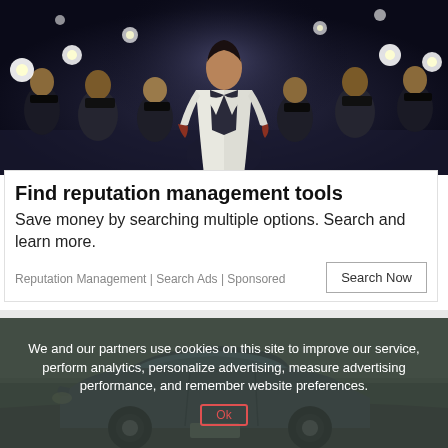[Figure (photo): A man in a white blazer and dark shirt surrounded by paparazzi photographers with flashing cameras against a dark dramatic background.]
Find reputation management tools
Save money by searching multiple options. Search and learn more.
Reputation Management | Search Ads | Sponsored
[Figure (photo): A car parked outdoors in a sunny environment, partially visible at the bottom of the page.]
We and our partners use cookies on this site to improve our service, perform analytics, personalize advertising, measure advertising performance, and remember website preferences.